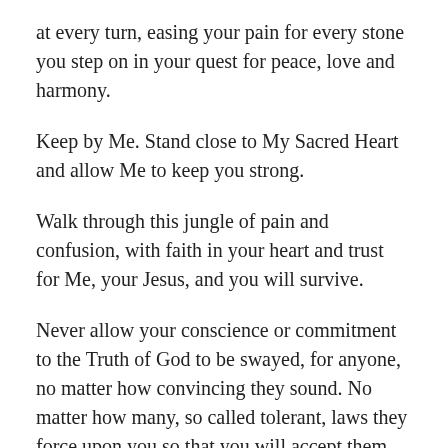at every turn, easing your pain for every stone you step on in your quest for peace, love and harmony.
Keep by Me. Stand close to My Sacred Heart and allow Me to keep you strong.
Walk through this jungle of pain and confusion, with faith in your heart and trust for Me, your Jesus, and you will survive.
Never allow your conscience or commitment to the Truth of God to be swayed, for anyone, no matter how convincing they sound. No matter how many, so called tolerant, laws they force upon you so that you will accept them.
You will know, in your hearts, the difference between